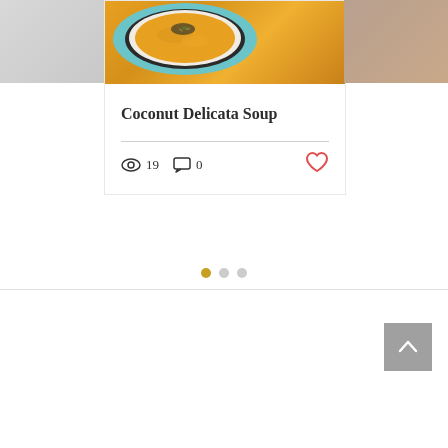[Figure (photo): Partial view of a bowl on the left side, cropped]
[Figure (photo): Overhead view of a bowl of orange/yellow coconut delicata soup topped with seeds and herbs on a blue plate]
[Figure (photo): Partial view of a bowl on the right side, cropped]
Coconut Delicata Soup
19 views, 0 comments, heart/like icon
[Figure (infographic): Pagination dots: one gold active dot followed by two gray inactive dots]
[Figure (infographic): Back to top button with upward chevron arrow on gray background]